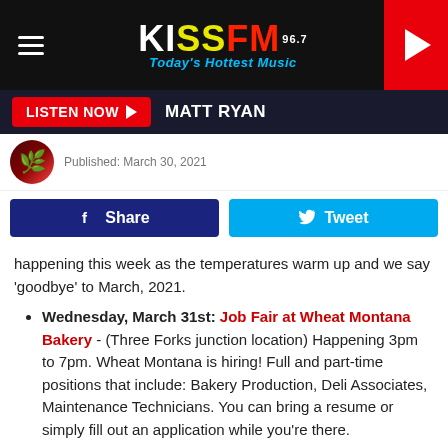[Figure (logo): KISS FM 96.7 radio station logo with tagline 'Today's Hottest Music' on dark background header with hamburger menu and play button]
LISTEN NOW  MATT RYAN
Published: March 30, 2021
[Figure (other): Facebook Share button and Twitter Tweet button]
happening this week as the temperatures warm up and we say 'goodbye' to March, 2021.
Wednesday, March 31st: Job Fair at Wheat Montana Bakery - (Three Forks junction location) Happening 3pm to 7pm. Wheat Montana is hiring! Full and part-time positions that include: Bakery Production, Deli Associates, Maintenance Technicians. You can bring a resume or simply fill out an application while you're there.
Wednesday, March 31st: Amanda Stewart, live music